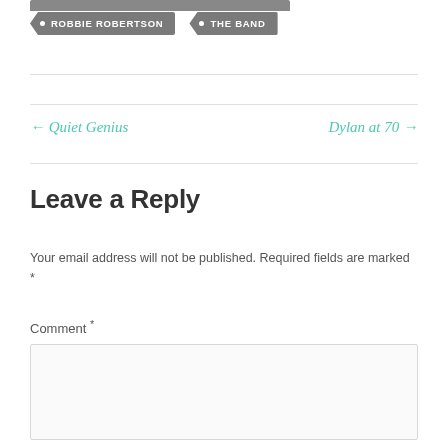• ROBBIE ROBERTSON
• THE BAND
← Quiet Genius
Dylan at 70 →
Leave a Reply
Your email address will not be published. Required fields are marked *
Comment *